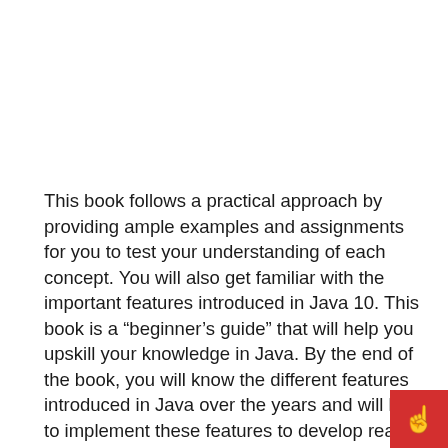This book follows a practical approach by providing ample examples and assignments for you to test your understanding of each concept. You will also get familiar with the important features introduced in Java 10. This book is a “beginner’s guide” that will help you upskill your knowledge in Java. By the end of the book, you will know the different features introduced in Java over the years and will learn to implement these features to develop real-world